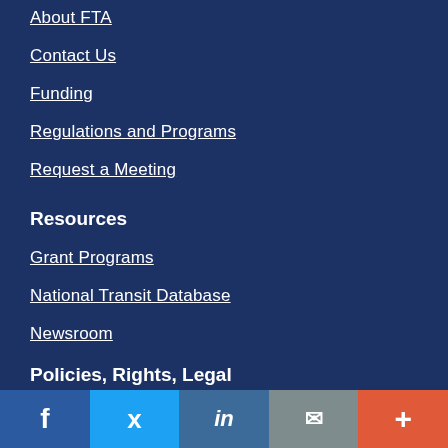About FTA
Contact Us
Funding
Regulations and Programs
Request a Meeting
Resources
Grant Programs
National Transit Database
Newsroom
Policies, Rights, Legal
f  Twitter  in  Email  +